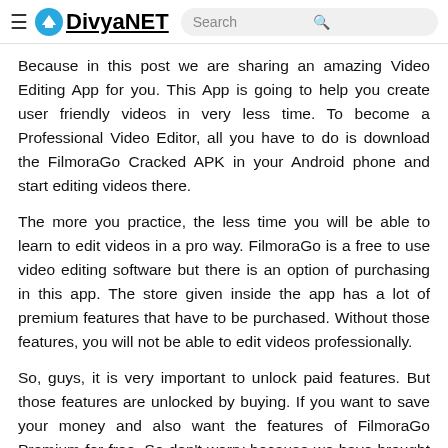≡ DivyaNET  Search 🔍
Because in this post we are sharing an amazing Video Editing App for you. This App is going to help you create user friendly videos in very less time. To become a Professional Video Editor, all you have to do is download the FilmoraGo Cracked APK in your Android phone and start editing videos there.
The more you practice, the less time you will be able to learn to edit videos in a pro way. FilmoraGo is a free to use video editing software but there is an option of purchasing in this app. The store given inside the app has a lot of premium features that have to be purchased. Without those features, you will not be able to edit videos professionally.
So, guys, it is very important to unlock paid features. But those features are unlocked by buying. If you want to save your money and also want the features of FilmoraGo Premium for free. So don't worry because we have brought you the FilmoraGo Pro Cracked APK where all Paid Features are